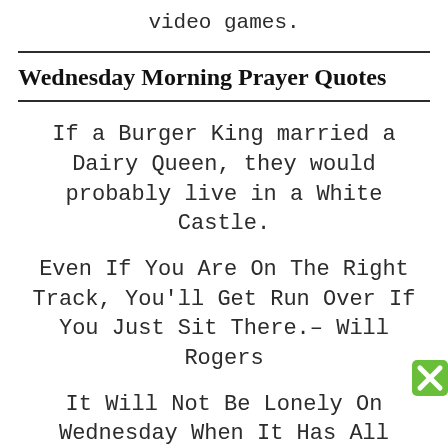video games.
Wednesday Morning Prayer Quotes
If a Burger King married a Dairy Queen, they would probably live in a White Castle.
Even If You Are On The Right Track, You'll Get Run Over If You Just Sit There.– Will Rogers
It Will Not Be Lonely On Wednesday When It Has All